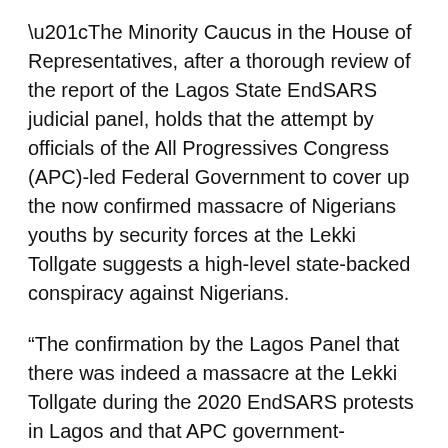“The Minority Caucus in the House of Representatives, after a thorough review of the report of the Lagos State EndSARS judicial panel, holds that the attempt by officials of the All Progressives Congress (APC)-led Federal Government to cover up the now confirmed massacre of Nigerians youths by security forces at the Lekki Tollgate suggests a high-level state-backed conspiracy against Nigerians.
“The confirmation by the Lagos Panel that there was indeed a massacre at the Lekki Tollgate during the 2020 EndSARS protests in Lagos and that APC government-controlled security forces carted away bodies and mopped up evidence, places a huge burden on the Federal Government which had vehemently denied any killings,” the statement read in part.